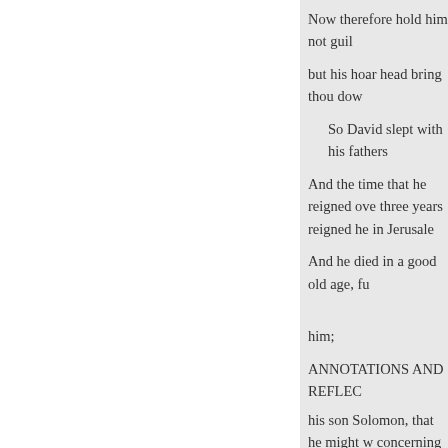Now therefore hold him not guil
but his hoar head bring thou dow
So David slept with his fathers
And the time that he reigned ove three years reigned he in Jerusale
And he died in a good old age, fu
him;
ANNOTATIONS AND REFLEC
his son Solomon, that he might w concerning obedience to the LOR peaceable possession of the thro
Joab was a man of a very turbule had lately joined in a conspiracy much trouble, and Solomon perh the high rank he had long borne i wisdom should direct ; and remin had opposed the lawful comman Amasa.